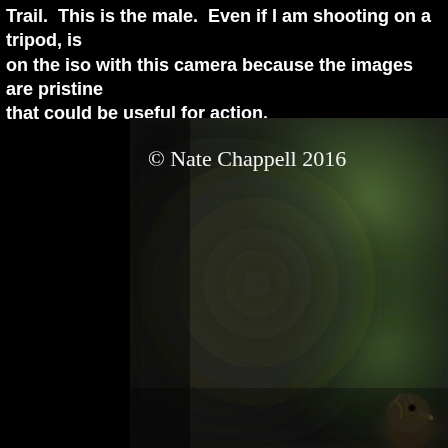Trail.  This is the male.  Even if I am shooting on a tripod, is on the iso with this camera because the images are pristine that could be useful for action.
[Figure (photo): Close-up wildlife photograph of a bird (partially visible in lower right corner) with blurred green and brown bokeh background. Watermark text '© Nate Chappell 2016' overlaid in white serif font on upper left of image.]